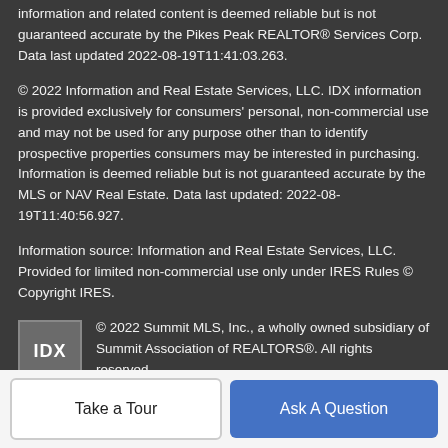information and related content is deemed reliable but is not guaranteed accurate by the Pikes Peak REALTOR® Services Corp. Data last updated 2022-08-19T11:41:03.263.
© 2022 Information and Real Estate Services, LLC. IDX information is provided exclusively for consumers' personal, non-commercial use and may not be used for any purpose other than to identify prospective properties consumers may be interested in purchasing. Information is deemed reliable but is not guaranteed accurate by the MLS or NAV Real Estate. Data last updated: 2022-08-19T11:40:56.927.
Information source: Information and Real Estate Services, LLC. Provided for limited non-commercial use only under IRES Rules © Copyright IRES.
[Figure (logo): IDX logo - square icon with text IDX]
© 2022 Summit MLS, Inc., a wholly owned subsidiary of Summit Association of REALTORS®. All rights reserved.
Take a Tour
Ask A Question